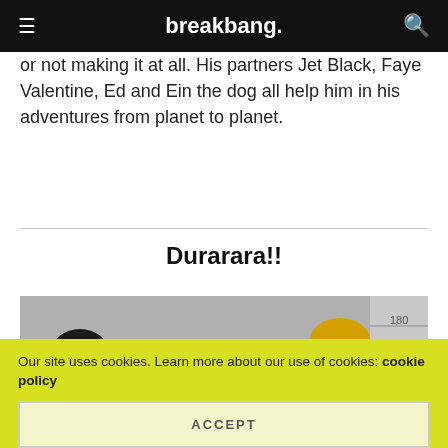breakbang.
or not making it at all. His partners Jet Black, Faye Valentine, Ed and Ein the dog all help him in his adventures from planet to planet.
Durarara!!
[Figure (illustration): Anime-style illustration of four characters from Durarara!! standing in a lineup against a height measurement wall. Characters have distinct hair colors: black, light brown/blonde, dark, and blonde on the far right.]
Our site uses cookies. Learn more about our use of cookies: cookie policy
ACCEPT